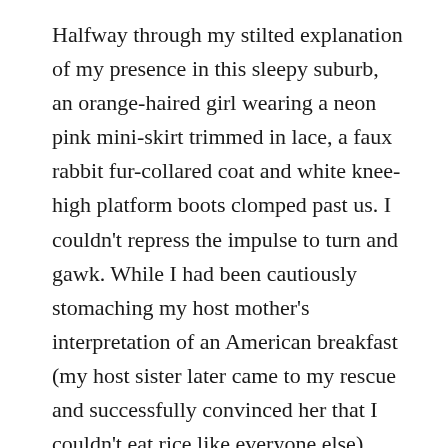Halfway through my stilted explanation of my presence in this sleepy suburb, an orange-haired girl wearing a neon pink mini-skirt trimmed in lace, a faux rabbit fur-collared coat and white knee-high platform boots clomped past us. I couldn't repress the impulse to turn and gawk. While I had been cautiously stomaching my host mother's interpretation of an American breakfast (my host sister later came to my rescue and successfully convinced her that I couldn't eat rice like everyone else), this girl had apparently been outlining her eyes and lips in white and crimping her streaky, dyed hair. But no one else seemed phased by her ostentatious display of Bordello Barbie-esque style. They were looking at me.
That my theatrical pursuits have since given me cause to sympathize with the intricacies of the clown-makeup